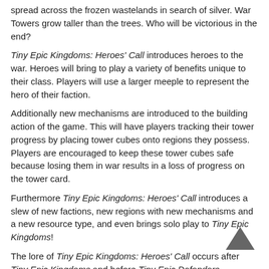spread across the frozen wastelands in search of silver. War Towers grow taller than the trees. Who will be victorious in the end?
Tiny Epic Kingdoms: Heroes' Call introduces heroes to the war. Heroes will bring to play a variety of benefits unique to their class. Players will use a larger meeple to represent the hero of their faction.
Additionally new mechanisms are introduced to the building action of the game. This will have players tracking their tower progress by placing tower cubes onto regions they possess. Players are encouraged to keep these tower cubes safe because losing them in war results in a loss of progress on the tower card.
Furthermore Tiny Epic Kingdoms: Heroes' Call introduces a slew of new factions, new regions with new mechanisms and a new resource type, and even brings solo play to Tiny Epic Kingdoms!
The lore of Tiny Epic Kingdoms: Heroes' Call occurs after Tiny Epic Kingdoms and before Tiny Epic Defenders.
Свързани продукти
[Figure (other): Up arrow / back-to-top button (chevron pointing up, dark gray)]